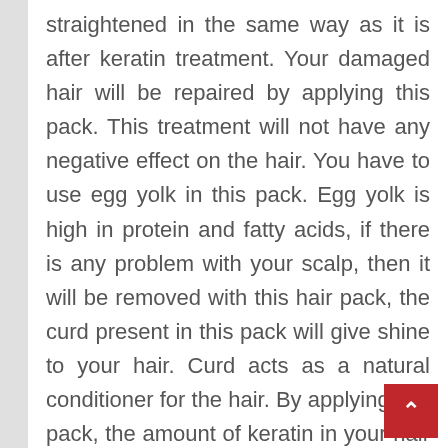straightened in the same way as it is after keratin treatment. Your damaged hair will be repaired by applying this pack. This treatment will not have any negative effect on the hair. You have to use egg yolk in this pack. Egg yolk is high in protein and fatty acids, if there is any problem with your scalp, then it will be removed with this hair pack, the curd present in this pack will give shine to your hair. Curd acts as a natural conditioner for the hair. By applying this pack, the amount of keratin in your hair will increase.
Beat the eggs well in a bowl
Add curd to the egg and beat it well for two